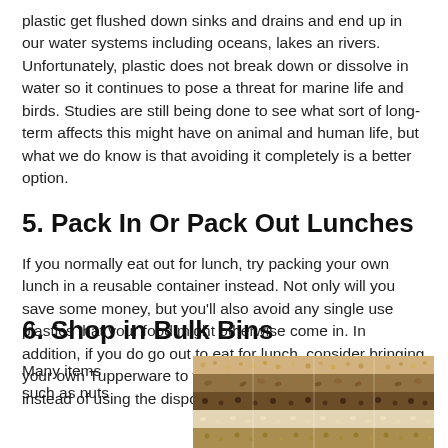plastic get flushed down sinks and drains and end up in our water systems including oceans, lakes an rivers. Unfortunately, plastic does not break down or dissolve in water so it continues to pose a threat for marine life and birds. Studies are still being done to see what sort of long-term affects this might have on animal and human life, but what we do know is that avoiding it completely is a better option.
5. Pack In Or Pack Out Lunches
If you normally eat out for lunch, try packing your own lunch in a reusable container instead. Not only will you save some money, but you'll also avoid any single use plastics that your food might otherwise come in. In addition, if you do go out to eat for lunch, consider bringing your own Tupperware to the restaurant for leftovers instead of using the disposable to-go containers.
6. Shop in Bulk Bins
Many items such as nuts
[Figure (photo): Overhead photo of various bulk bin goods including nuts, grains, seeds and legumes arranged in colorful rows]